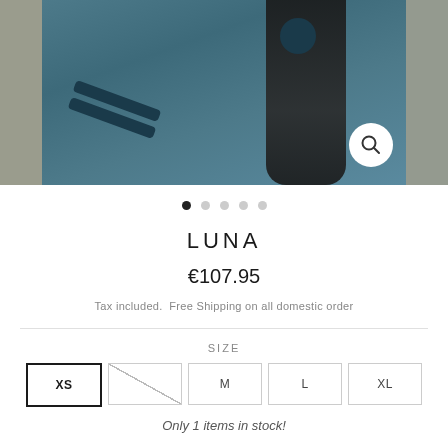[Figure (photo): Product photo of a woman wearing a teal/blue top with dark stripes on the sleeve and a dark circular patch on the upper arm. Image shown in a carousel with left and right side strips partially visible. A zoom/search icon button is in the bottom right of the image.]
LUNA
€107.95
Tax included.  Free Shipping on all domestic order
SIZE
XS  S  M  L  XL
Only 1 items in stock!